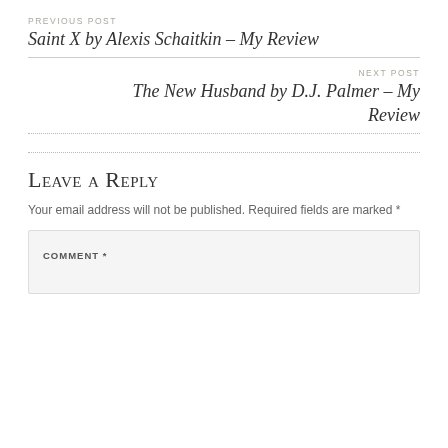PREVIOUS POST
Saint X by Alexis Schaitkin – My Review
NEXT POST
The New Husband by D.J. Palmer – My Review
Leave a Reply
Your email address will not be published. Required fields are marked *
COMMENT *